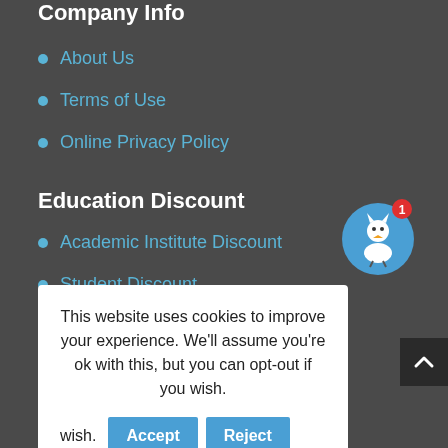Company Info
About Us
Terms of Use
Online Privacy Policy
[Figure (illustration): Circular avatar icon with a stylized white bird/duck character on a blue background, with a red notification badge showing '1']
Education Discount
Academic Institute Discount
Student Discount
This website uses cookies to improve your experience. We'll assume you're ok with this, but you can opt-out if you wish. Accept Reject Read More